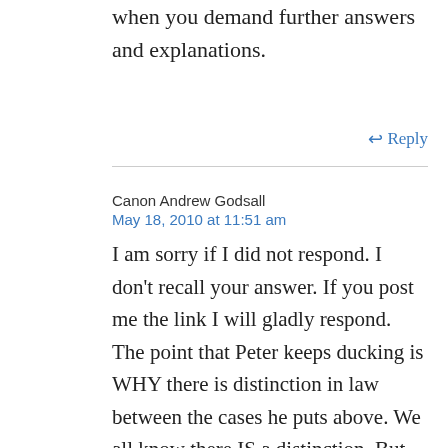when you demand further answers and explanations.
↩ Reply
Canon Andrew Godsall
May 18, 2010 at 11:51 am
I am sorry if I did not respond. I don't recall your answer. If you post me the link I will gladly respond. The point that Peter keeps ducking is WHY there is distinction in law between the cases he puts above. We all know there IS a distinction. But why did they choose to make it so. Peter knows that if he answers that question he has to admit to moral relativism – which the C of E subscribes to anyway and has done since it allowed different rules for lay people and for clergy.